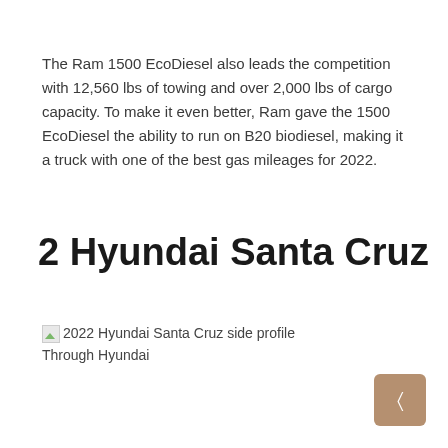The Ram 1500 EcoDiesel also leads the competition with 12,560 lbs of towing and over 2,000 lbs of cargo capacity. To make it even better, Ram gave the 1500 EcoDiesel the ability to run on B20 biodiesel, making it a truck with one of the best gas mileages for 2022.
2 Hyundai Santa Cruz
2022 Hyundai Santa Cruz side profile
Through Hyundai